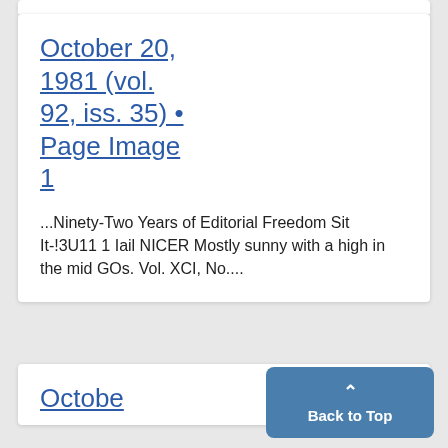October 20, 1981 (vol. 92, iss. 35) • Page Image 1
...Ninety-Two Years of Editorial Freedom Sit It-!3U11 1 Iail NICER Mostly sunny with a high in the mid GOs. Vol. XCI, No....
Octobe